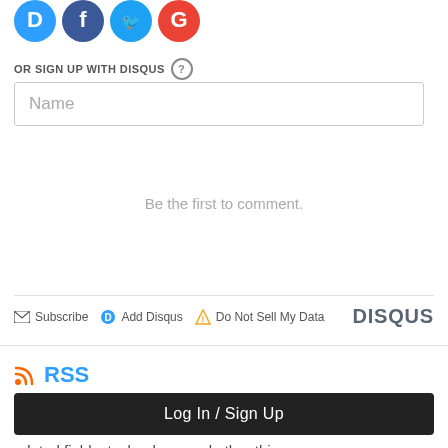[Figure (logo): Social login icons: Disqus (blue D), Facebook (dark blue F), Twitter (light blue bird), Google (red G)]
OR SIGN UP WITH DISQUS ?
Name
Be the first to comment.
Subscribe  Add Disqus  Do Not Sell My Data    DISQUS
[Figure (logo): RSS icon (orange) followed by RSS text in blue]
Log In / Sign Up
related fields, technology, and other things